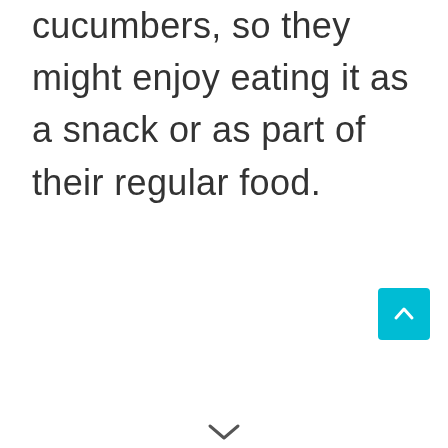cucumbers, so they might enjoy eating it as a snack or as part of their regular food.
[Figure (other): Teal/cyan square button with a white upward-pointing chevron arrow, positioned at bottom-right of the page (scroll-to-top button)]
[Figure (other): Small downward-pointing chevron/caret icon at the very bottom center of the page]